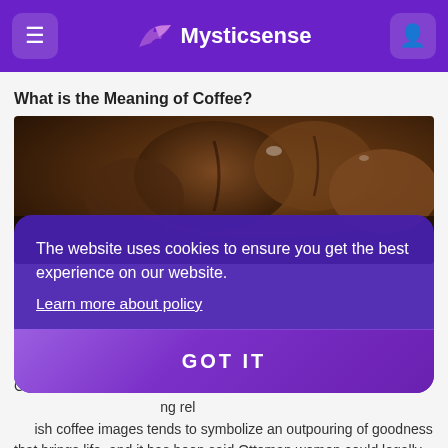Mysticsense
What is the Meaning of Coffee?
[Figure (photo): Close-up macro photograph of dark roasted coffee beans with rich brown and dark tones]
The website uses cookies to ensure you get the best experience on our website.
Learn more about policy
GOT IT
Coffee... life, we... ing rel... sh coffee images tends to symbolize an outpouring of goodness that brings life, and it has been said Ottoman women could legally divorce their husbands if they did not provide enough